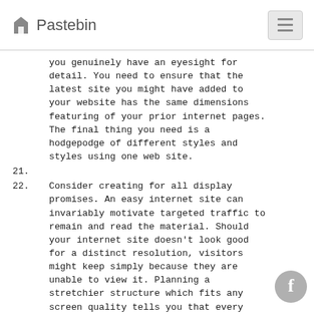Pastebin
you genuinely have an eyesight for detail. You need to ensure that the latest site you might have added to your website has the same dimensions featuring of your prior internet pages. The final thing you need is a hodgepodge of different styles and styles using one web site.
21.
22. Consider creating for all display promises. An easy internet site can invariably motivate targeted traffic to remain and read the material. Should your internet site doesn't look good for a distinct resolution, visitors might keep simply because they are unable to view it. Planning a stretchier structure which fits any screen quality tells you that every visitors can enjoy the articles.
23.
24. Discover up to it is possible to concerning the various forms of html, because the web-page coding is vital to